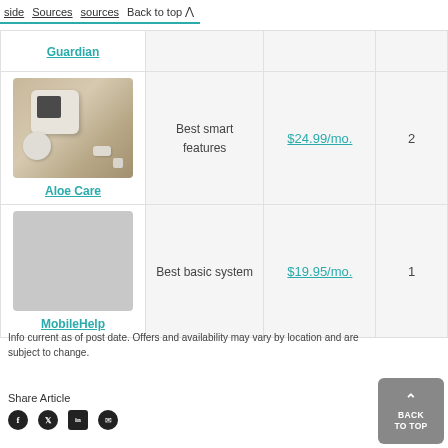side  Sources  sources  Back to top ^
| Product | Best For | Price |  |
| --- | --- | --- | --- |
| Guardian |  |  |  |
| Aloe Care | Best smart features | $24.99/mo. | 2 |
| MobileHelp | Best basic system | $19.95/mo. | 1 |
Info current as of post date. Offers and availability may vary by location and are subject to change.
Share Article